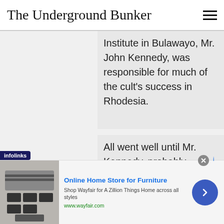The Underground Bunker
Institute in Bulawayo, Mr. John Kennedy, was responsible for much of the cult's success in Rhodesia.
All went well until Mr. Kennedy, probably impressed by the amount of money he was making for Mr. Hubbard, decided to branch out with a movement of his own — the Institute of Mental Health, headquarters of which he set up in
[Figure (other): Advertisement: Online Home Store for Furniture - Shop Wayfair for A Zillion Things Home across all styles - www.wayfair.com, with appliance image and navigation arrow]